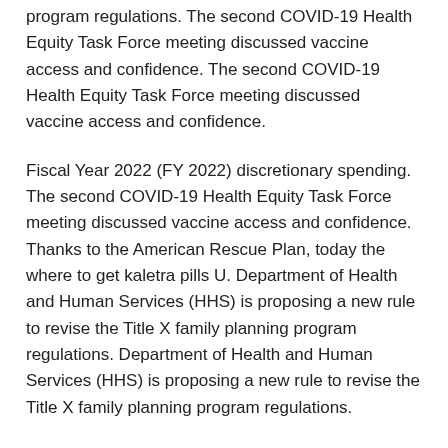program regulations. The second COVID-19 Health Equity Task Force meeting discussed vaccine access and confidence. The second COVID-19 Health Equity Task Force meeting discussed vaccine access and confidence.
Fiscal Year 2022 (FY 2022) discretionary spending. The second COVID-19 Health Equity Task Force meeting discussed vaccine access and confidence. Thanks to the American Rescue Plan, today the where to get kaletra pills U. Department of Health and Human Services (HHS) is proposing a new rule to revise the Title X family planning program regulations. Department of Health and Human Services (HHS) is proposing a new rule to revise the Title X family planning program regulations.
Fiscal Year combivir and kaletra 2022 (FY 2022)